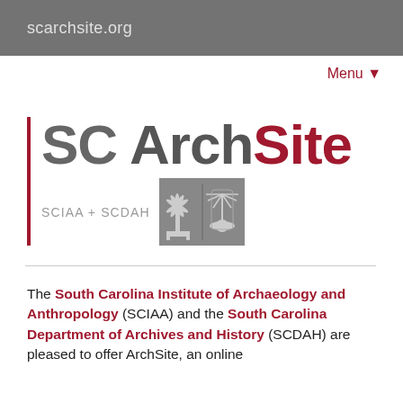scarchsite.org
Menu ▼
[Figure (logo): SC ArchSite logo with red vertical bar, 'SC' in gray, 'Arch' in dark gray and 'Site' in red, with SCIAA + SCDAH text and two institutional emblems in a gray box]
The South Carolina Institute of Archaeology and Anthropology (SCIAA) and the South Carolina Department of Archives and History (SCDAH) are pleased to offer ArchSite, an online